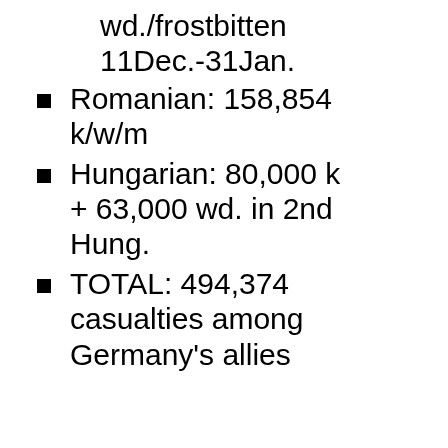wd./frostbitten 11Dec.-31Jan.
Romanian: 158,854 k/w/m
Hungarian: 80,000 k + 63,000 wd. in 2nd Hung.
TOTAL: 494,374 casualties among Germany's allies